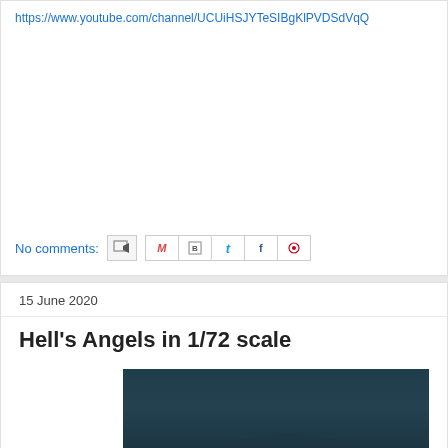https://www.youtube.com/channel/UCUiHSJYTeSIBgKlPVDSdVqQ
No comments:
15 June 2020
Hell's Angels in 1/72 scale
[Figure (photo): Dark teal/blue toned photograph, partially visible, showing a blurry dark scene]